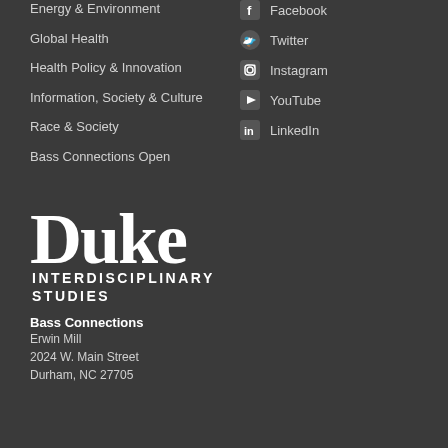Energy & Environment
Global Health
Health Policy & Innovation
Information, Society & Culture
Race & Society
Bass Connections Open
Facebook
Twitter
Instagram
YouTube
LinkedIn
[Figure (logo): Duke Interdisciplinary Studies logo with large serif 'Duke' text and bold sans-serif 'INTERDISCIPLINARY STUDIES' below]
Bass Connections
Erwin Mill
2024 W. Main Street
Durham, NC 27705